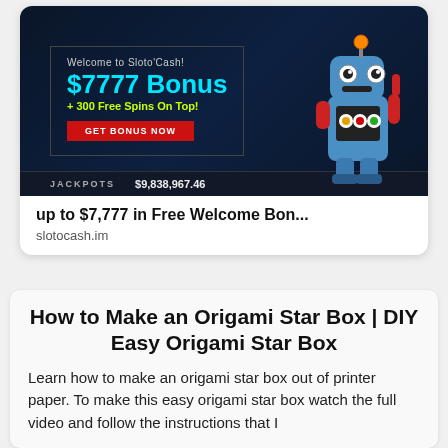[Figure (screenshot): Online casino advertisement banner for Sloto'Cash with dark background showing '$7777 Bonus + 300 Free Spins On Top!' with a red 'GET BONUS NOW' button and a jackpot counter showing $9,838,967.46, and a cartoon robot character on the right.]
up to $7,777 in Free Welcome Bon...
slotocash.im
How to Make an Origami Star Box | DIY Easy Origami Star Box
Learn how to make an origami star box out of printer paper. To make this easy origami star box watch the full video and follow the instructions that I